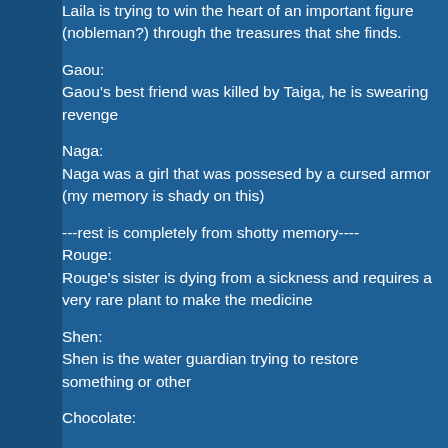Laila is trying to win the heart of an important figure (nobleman?) through the treasures that she finds.
Gaou:
Gaou's best friend was killed by Taiga, he is swearing revenge
Naga:
Naga was a girl that was possesed by a cursed armor (my memory is shady on this)
---rest is completely from shotty memory----
Rouge:
Rouge's sister is dying from a sickness and requires a very rare plant to make the medicine
Shen:
Shen is the water guardian trying to restore something or other
Chocolate: